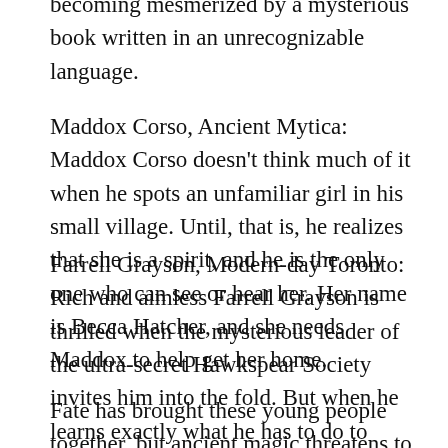becoming mesmerized by a mysterious book written in an unrecognizable language.
Maddox Corso, Ancient Mytica: Maddox Corso doesn’t think much of it when he spots an unfamiliar girl in his small village. Until, that is, he realizes that she is a spirit, and he is the only one who can see or hear her. Her name is Becca Hatcher, and she needs Maddox to help get her home.
Farrell Grayson, Modern-day Toronto: Rich and aimless Farrell Grayson is thrilled when the mysterious leader of the ultra-secret Hawkspear Society invites him into the fold. But when he learns exactly what he has to do to prove himself, Farrell starts to question everything he thought he knew about family, loyalty, and himself….
Fate has brought these young people together, but ancient magic threatens to rip them apart.